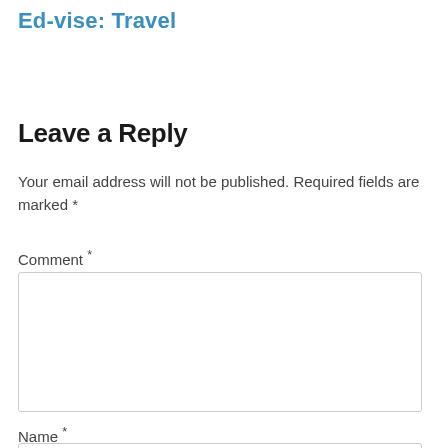Ed-vise: Travel
Leave a Reply
Your email address will not be published. Required fields are marked *
Comment *
Name *